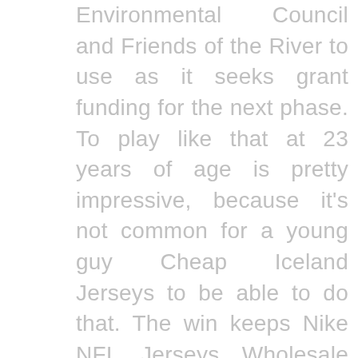Environmental Council and Friends of the River to use as it seeks grant funding for the next phase. To play like that at 23 years of age is pretty impressive, because it's not common for a young guy Cheap Iceland Jerseys to be able to do that. The win keeps Nike NFL Jerseys Wholesale St. He is the grandson of Shirley and Dennis Lawrence of Cubbage Hill, and Denise and Ed Davis of Butler. will start Saturday versus the Colts, Brooke Pryor of The Kansas City Star reports.